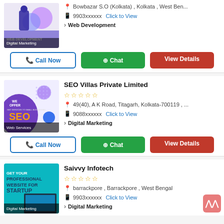[Figure (illustration): Web Development / Digital Marketing thumbnail image]
Bowbazar S.O (Kolkata) , Kolkata , West Ben...
9903xxxxxx  Click to View
Web Development
Call Now  Chat  View Details
SEO Villas Private Limited
[Figure (illustration): SEO Villas Private Limited Web Services thumbnail image]
49(40), A K Road, Titagarh, Kolkata-700119 , ...
9088xxxxxx  Click to View
Digital Marketing
Call Now  Chat  View Details
Saivvy Infotech
[Figure (illustration): Saivvy Infotech Digital Marketing thumbnail image]
barrackpore , Barrackpore , West Bengal
9903xxxxxx  Click to View
Digital Marketing